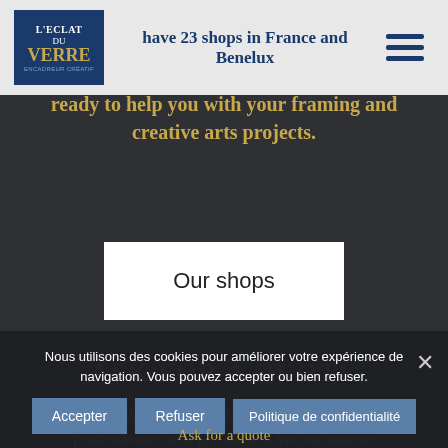[Figure (logo): L'Eclat du Verre logo — dark blue rectangle with golden brand name]
have 23 shops in France and Benelux, ready to help you with your framing and creative arts projects.
Our shops
ASK FOR A QUOTE
Explain your project to us! Our team of professionals will get back to you as soon as possible.
Nous utilisons des cookies pour améliorer votre expérience de navigation. Vous pouvez accepter ou bien refuser.
Ask for a quote